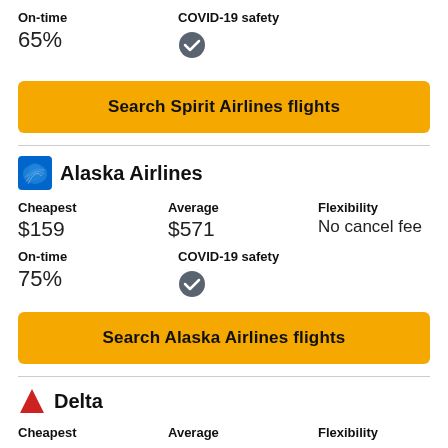On-time
COVID-19 safety
65%
[Figure (other): COVID-19 safety checkmark icon (dark circle with white checkmark)]
Search Spirit Airlines flights
Alaska Airlines
Cheapest
Average
Flexibility
$159
$571
No cancel fee
On-time
COVID-19 safety
75%
[Figure (other): COVID-19 safety checkmark icon (dark circle with white checkmark)]
Search Alaska Airlines flights
Delta
Cheapest
Average
Flexibility